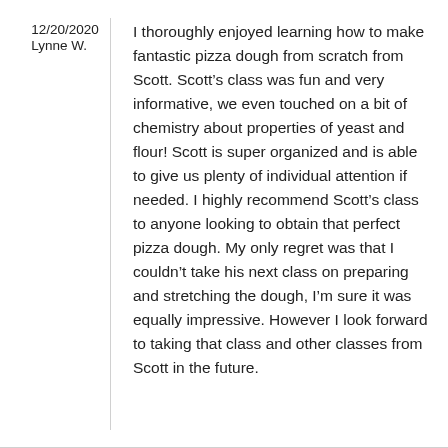12/20/2020
Lynne W.
I thoroughly enjoyed learning how to make fantastic pizza dough from scratch from Scott. Scott’s class was fun and very informative, we even touched on a bit of chemistry about properties of yeast and flour! Scott is super organized and is able to give us plenty of individual attention if needed. I highly recommend Scott’s class to anyone looking to obtain that perfect pizza dough. My only regret was that I couldn’t take his next class on preparing and stretching the dough, I’m sure it was equally impressive. However I look forward to taking that class and other classes from Scott in the future.